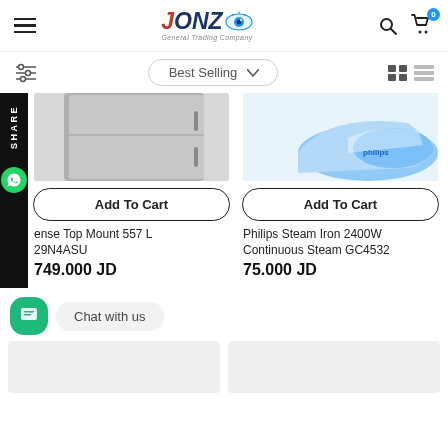JONZO General Trading Company — Navigation header with logo, search, and cart
Best Selling (dropdown)
[Figure (photo): Partial product image of a gray refrigerator (top mount, 557L)]
[Figure (photo): Partial product image of a Philips blue steam iron]
Add To Cart
Add To Cart
ense Top Mount 557 L
29N4ASU
749.000 JD
Philips Steam Iron 2400W Continuous Steam GC4532
75.000 JD
SHARE
Chat with us